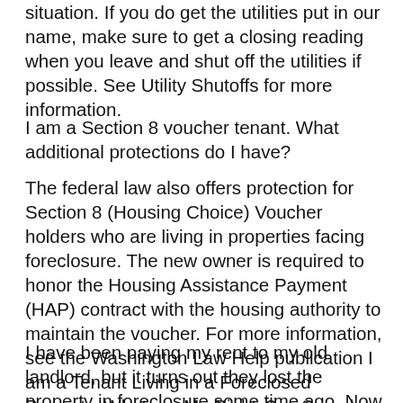situation. If you do get the utilities put in our name, make sure to get a closing reading when you leave and shut off the utilities if possible. See Utility Shutoffs for more information.
I am a Section 8 voucher tenant. What additional protections do I have?
The federal law also offers protection for Section 8 (Housing Choice) Voucher holders who are living in properties facing foreclosure. The new owner is required to honor the Housing Assistance Payment (HAP) contract with the housing authority to maintain the voucher. For more information, see the Washington Law Help publication I am a Tenant Living in a Foreclosed Property. What are My Rights?, a Sample Letter from Section 8 Tenant to New Owners of Foreclosed Property.
I have been paying my rent to my old landlord, but it turns out they lost the property in foreclosure some time ago. Now the new owner is asking me for